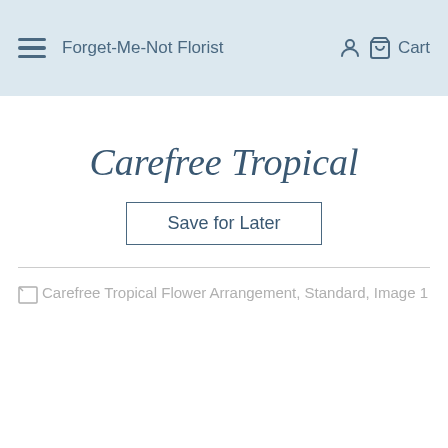Forget-Me-Not Florist  Cart
Carefree Tropical
Save for Later
[Figure (photo): Broken image placeholder for: Carefree Tropical Flower Arrangement, Standard, Image 1]